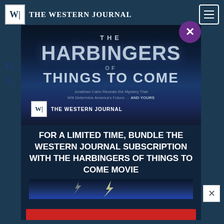THE WESTERN JOURNAL
[Figure (screenshot): Modal advertisement overlay on The Western Journal website. The modal shows a movie poster for 'The Harbingers of Things to Come' with The Western Journal logo and a call-to-action text reading 'FOR A LIMITED TIME, BUNDLE THE WESTERN JOURNAL SUBSCRIPTION WITH THE HARBINGERS OF THINGS TO COME MOVIE'. A purple circle close button (X) appears at the top right of the modal. A red call-to-action button appears at the bottom.]
FOR A LIMITED TIME, BUNDLE THE WESTERN JOURNAL SUBSCRIPTION WITH THE HARBINGERS OF THINGS TO COME MOVIE